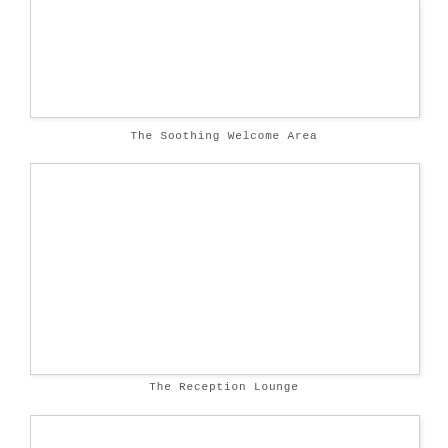[Figure (photo): Top photo placeholder - blank white image with light border, partially visible at top of page]
The Soothing Welcome Area
[Figure (photo): Large blank white photo placeholder with light border - The Reception Lounge]
The Reception Lounge
[Figure (photo): Bottom photo placeholder - blank white image with light border, partially visible at bottom of page]